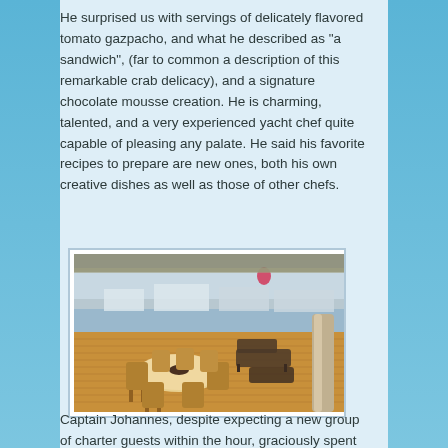He surprised us with servings of delicately flavored tomato gazpacho, and what he described as “a sandwich”, (far to common a description of this remarkable crab delicacy), and a signature chocolate mousse creation. He is charming, talented, and a very experienced yacht chef quite capable of pleasing any palate. He said his favorite recipes to prepare are new ones, both his own creative dishes as well as those of other chefs.
[Figure (photo): Yacht deck with wooden teak flooring, round dining table with wooden chairs in the foreground, sun loungers in the middle, a chrome pole/column on the right, and a marina with other yachts visible in the background under a hazy sky.]
Captain Johannes, despite expecting a new group of charter guests within the hour, graciously spent quite a bit